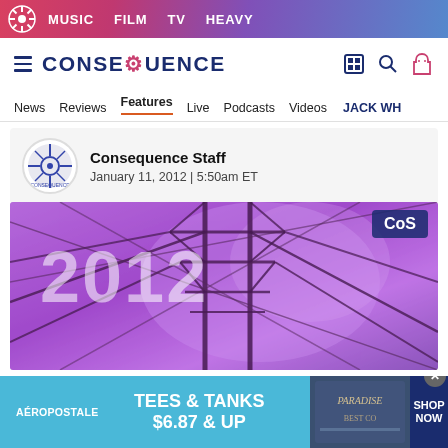MUSIC  FILM  TV  HEAVY
[Figure (logo): Consequence of Sound site logo with hamburger menu and navigation icons]
News  Reviews  Features  Live  Podcasts  Videos  JACK WH
Consequence Staff
January 11, 2012 | 5:50am ET
[Figure (photo): Article header image: purple-tinted electric power tower/pylon with '2012' and 'CoS' text overlay]
[Figure (infographic): Advertisement banner: AÉROPOSTALE - TEES & TANKS $6.87 & UP - SHOP NOW]